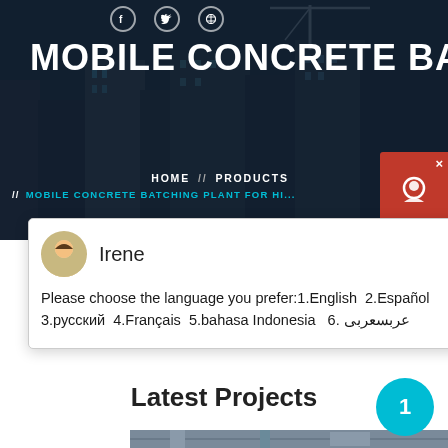[Figure (photo): Construction site background with cranes and city buildings, dark blue overlay, webpage hero section]
MOBILE CONCRETE BATCHING P
HOME // PRODUCTS // MOBILE CONCRETE BATCHING PLANT FOR HI...
Irene
Please choose the language you prefer:1.English  2.Español  3.русский  4.Français  5.bahasa Indonesia  6. عربسعربی
Latest Projects
[Figure (photo): Industrial machinery / concrete batching plant equipment inside a facility]